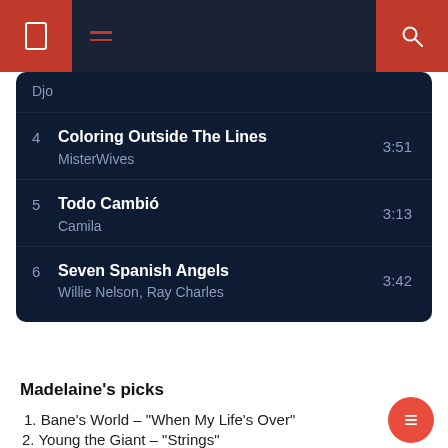[Figure (screenshot): App top bar with red left button (bookmark icon), dark center with red menu lines, red right button (search icon)]
|  | Djo |  |
| 4 | Coloring Outside The Lines
MisterWives | 3:51 |
| 5 | Todo Cambió
Camila | 3:13 |
| 6 | Seven Spanish Angels
Willie Nelson, Ray Charles | 3:42 |
Madelaine’s picks
1. Bane’s World – “When My Life’s Over”
2. Young the Giant – “Strings”
3. Djo – “Roddy”
Bane’s World is an alternative indie band that has been releasing music since 2016. “When My Life Is Over” is the band’s third most popular song on Spotify with over three